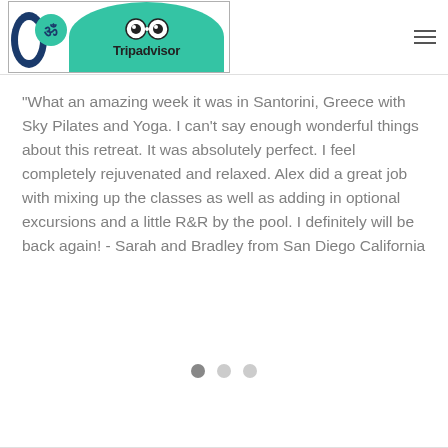[Figure (logo): Website header with an Om symbol yoga logo on the left and the Tripadvisor owl logo with 'Tripadvisor' text on a green rounded background, plus a hamburger menu icon on the right]
"What an amazing week it was in Santorini, Greece with Sky Pilates and Yoga. I can't say enough wonderful things about this retreat. It was absolutely perfect. I feel completely rejuvenated and relaxed. Alex did a great job with mixing up the classes as well as adding in optional excursions and a little R&R by the pool. I definitely will be back again! - Sarah and Bradley from San Diego California
[Figure (other): Three pagination dots: one dark filled (active) and two lighter (inactive)]